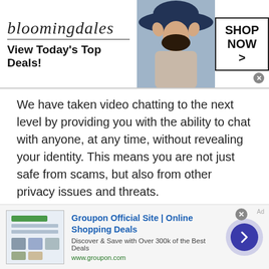[Figure (screenshot): Bloomingdale's advertisement banner with logo, 'View Today's Top Deals!' tagline, model photo, and 'SHOP NOW >' button]
We have taken video chatting to the next level by providing you with the ability to chat with anyone, at any time, without revealing your identity. This means you are not just safe from scams, but also from other privacy issues and threats.
We have provided you with tips, safety measures, and much more that you will find useful during an Ecuadorean Chat with Randoms . Now it is your turn to act on our advice and make a lasting first impression. Get ready for
[Figure (screenshot): Groupon Official Site advertisement banner: 'Groupon Official Site | Online Shopping Deals - Discover & Save with Over 300k of the Best Deals - www.groupon.com' with thumbnail image and navigation arrow]